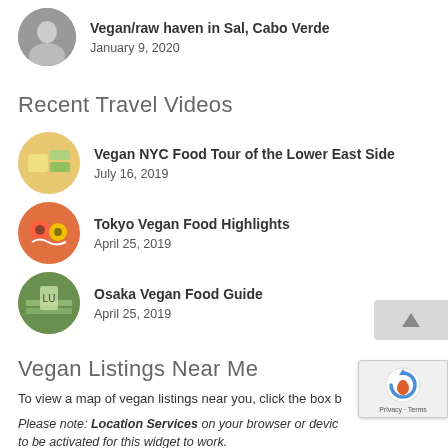Vegan/raw haven in Sal, Cabo Verde
January 9, 2020
Recent Travel Videos
Vegan NYC Food Tour of the Lower East Side
July 16, 2019
Tokyo Vegan Food Highlights
April 25, 2019
Osaka Vegan Food Guide
April 25, 2019
Vegan Listings Near Me
To view a map of vegan listings near you, click the box b
Please note: Location Services on your browser or devic to be activated for this widget to work.
[Figure (logo): reCAPTCHA badge with logo and Privacy/Terms link]